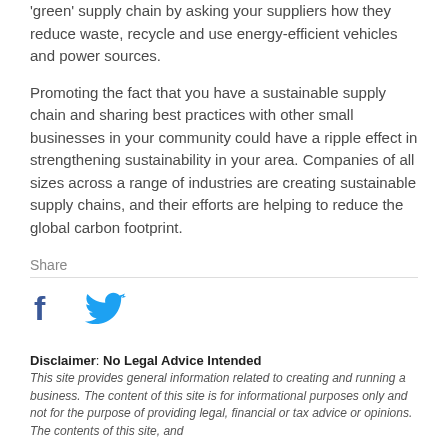'green' supply chain by asking your suppliers how they reduce waste, recycle and use energy-efficient vehicles and power sources.
Promoting the fact that you have a sustainable supply chain and sharing best practices with other small businesses in your community could have a ripple effect in strengthening sustainability in your area. Companies of all sizes across a range of industries are creating sustainable supply chains, and their efforts are helping to reduce the global carbon footprint.
Share
[Figure (logo): Facebook and Twitter social share icons]
Disclaimer: No Legal Advice Intended
This site provides general information related to creating and running a business. The content of this site is for informational purposes only and not for the purpose of providing legal, financial or tax advice or opinions. The contents of this site, and